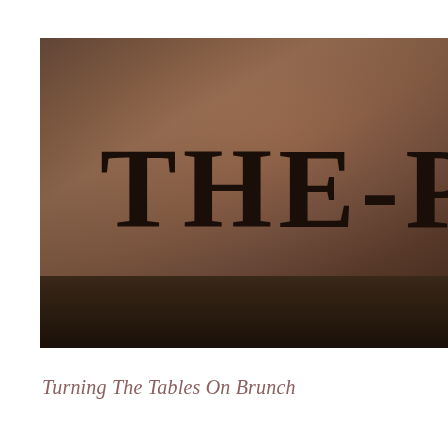[Figure (photo): Close-up photograph of a brown/tan surface (book cover or sign) with large bold serif text reading 'THE-P' partially visible, with a dark textured bottom edge/shadow.]
Turning The Tables On Brunch